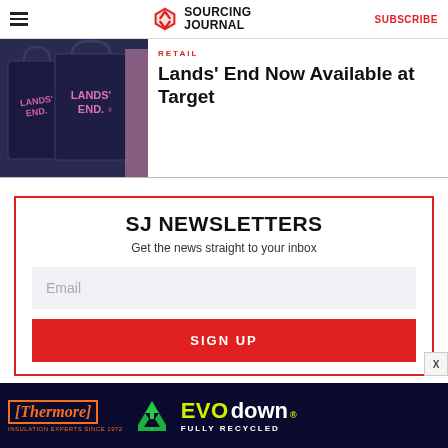Sourcing Journal | SUBSCRIBE
[Figure (photo): Two navy blue Lands' End shopping bags with pink logo text]
RETAIL
Lands' End Now Available at Target
SJ NEWSLETTERS
Get the news straight to your inbox
Email
SIGN UP
[Figure (photo): Thermore EVO down® advertisement banner - insulation experts since 1972, fully recycled]